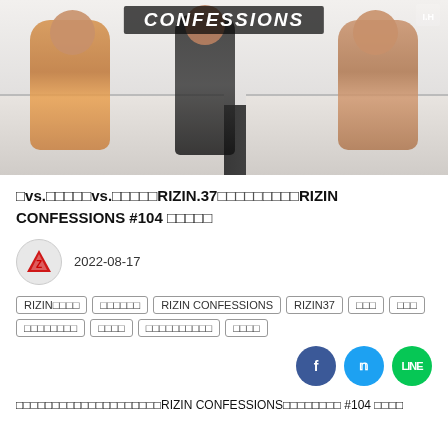[Figure (photo): Photo of fighters and staff at RIZIN.37 event backstage, with a banner reading CONFESSIONS in the background. Two fighters seated at tables with a staff member between them.]
□vs.□□□□□vs.□□□□□RIZIN.37□□□□□□□□□RIZIN CONFESSIONS #104 □□□□□
2022-08-17
RIZIN□□□□
□□□□□□
RIZIN CONFESSIONS
RIZIN37
□□□
□□□
□□□□□□□□
□□□□
□□□□□□□□□□
□□□□
[Figure (other): Social share buttons: Facebook (blue circle), Twitter (cyan circle), LINE (green circle with LINE logo)]
□□□□□□□□□□□□□□□□□□□□RIZIN CONFESSIONS□□□□□□□□ #104 □□□□